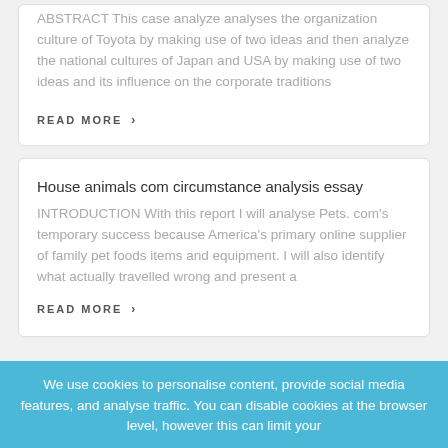ABSTRACT This case analyze analyses the organization culture of Toyota by making use of two ideas and then analyze the national cultures of Japan and USA by making use of two ideas and its influence on the corporate traditions
READ MORE ›
House animals com circumstance analysis essay
INTRODUCTION With this report I will analyse Pets. com's temporary success because America's primary online supplier of family pet foods items and equipment. I will also identify what actually travelled wrong and present a
READ MORE ›
We use cookies to personalise content, provide social media features, and analyse traffic. You can disable cookies at the browser level, however this can limit your